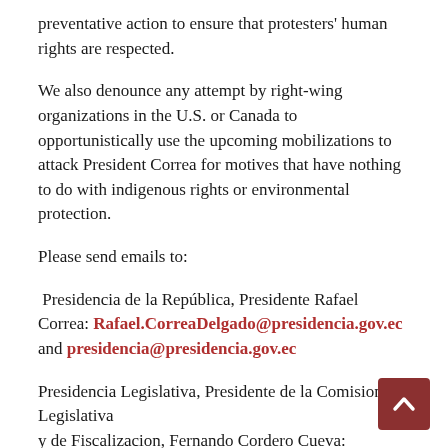preventative action to ensure that protesters' human rights are respected.
We also denounce any attempt by right-wing organizations in the U.S. or Canada to opportunistically use the upcoming mobilizations to attack President Correa for motives that have nothing to do with indigenous rights or environmental protection.
Please send emails to:
Presidencia de la República, Presidente Rafael Correa: Rafael.CorreaDelgado@presidencia.gov.ec and presidencia@presidencia.gov.ec
Presidencia Legislativa, Presidente de la Comision Legislativa y de Fiscalizacion, Fernando Cordero Cueva: presidencia@...